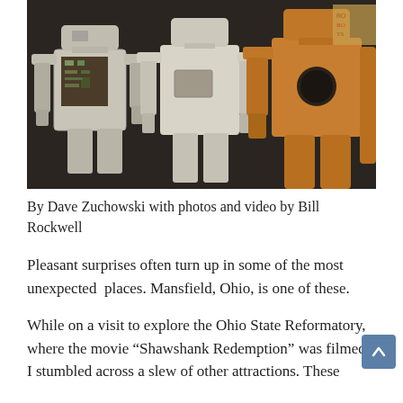[Figure (photo): Three vintage robot figures standing side by side against a dark background. Left robot is white/silver with visible circuit board chest panel. Middle robot is cream/white with a rectangular chest window. Right robot is bronze/gold colored with a circular chest opening.]
By Dave Zuchowski with photos and video by Bill Rockwell
Pleasant surprises often turn up in some of the most unexpected  places. Mansfield, Ohio, is one of these.
While on a visit to explore the Ohio State Reformatory, where the movie “Shawshank Redemption” was filmed, I stumbled across a slew of other attractions. These